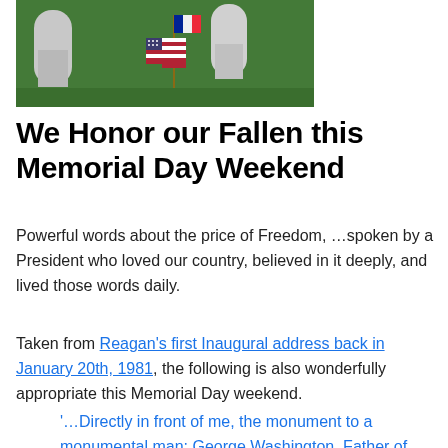[Figure (photo): Cemetery headstones in green grass with an American flag placed in front of one of the gravestones]
We Honor our Fallen this Memorial Day Weekend
Powerful words about the price of Freedom, …spoken by a President who loved our country, believed in it deeply, and lived those words daily.
Taken from Reagan's first Inaugural address back in January 20th, 1981, the following is also wonderfully appropriate this Memorial Day weekend.
'…Directly in front of me, the monument to a monumental man: George Washington, Father of